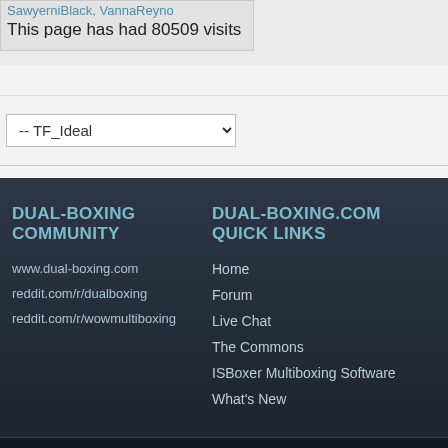SawyerniBlack, VannaReyno
This page has had 80509 visits
-- TF_Ideal
DUAL-BOXING COMMUNITY
www.dual-boxing.com
reddit.com/r/dualboxing
reddit.com/r/wowmultiboxing
DUAL-BOXING.COM QUICK LINKS
Home
Forum
Live Chat
The Commons
ISBoxer Multiboxing Software
What's New
Dual-boxing.com is a community of dual boxers and multi boxers playing WoW, SWT
All Ima